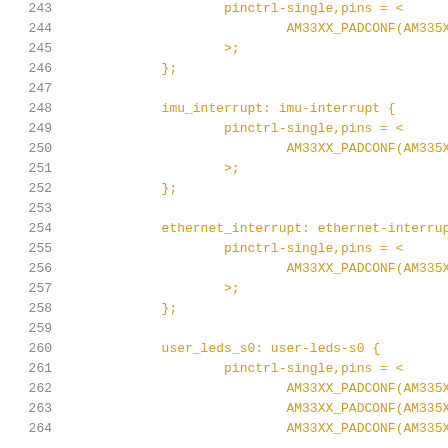Code listing lines 243-264, device tree source file showing pinctrl definitions for imu_interrupt, ethernet_interrupt, and user_leds_s0
[Figure (screenshot): Source code listing showing device tree pin control configuration for embedded Linux (AM335X/AM33XX platform). Lines 243-264 showing imu_interrupt, ethernet_interrupt, and user_leds_s0 node definitions with pinctrl-single,pins assignments using AM33XX_PADCONF macros.]